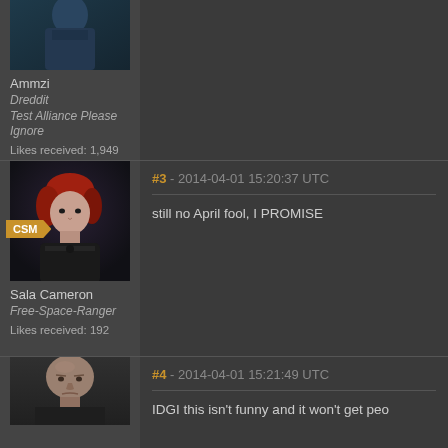[Figure (photo): Avatar image of user Ammzi, partial view of character in dark teal armor]
Ammzi
Dreddit
Test Alliance Please Ignore
Likes received: 1,949
[Figure (photo): Avatar image of Sala Cameron, red-haired female character in dark armor with CSM badge]
CSM
Sala Cameron
Free-Space-Ranger
Likes received: 192
#3 - 2014-04-01 15:20:37 UTC
still no April fool, I PROMISE
[Figure (photo): Avatar image of a bald male character with stern expression]
#4 - 2014-04-01 15:21:49 UTC
IDGI this isn't funny and it won't get peo